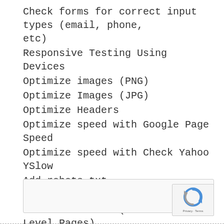Check forms for correct input types (email, phone, etc)
Responsive Testing Using Devices
Optimize images (PNG)
Optimize Images (JPG)
Optimize Headers
Optimize speed with Google Page Speed
Optimize speed with Check Yahoo YSlow
Add robots.txt
Add humans.txt
HTML Validation (For All Top Level Pages)
CSS Validation
[Figure (other): reCAPTCHA checkbox widget with Privacy and Terms links]